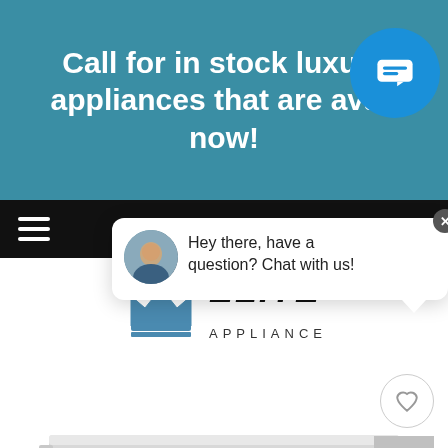Call for in stock luxury appliances that are available now!
[Figure (screenshot): Website screenshot with teal banner, chat popup, Elite Appliance logo, hamburger menu, heart/back-to-top buttons, and a luxury appliance drawer/warmer product image]
Hey there, have a question? Chat with us!